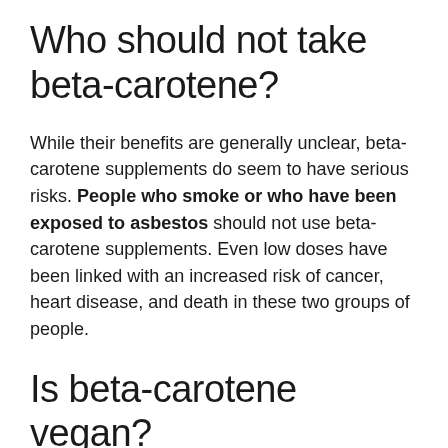Who should not take beta-carotene?
While their benefits are generally unclear, beta-carotene supplements do seem to have serious risks. People who smoke or who have been exposed to asbestos should not use beta-carotene supplements. Even low doses have been linked with an increased risk of cancer, heart disease, and death in these two groups of people.
Is beta-carotene vegan?
Beta-Carotene is generally used for...